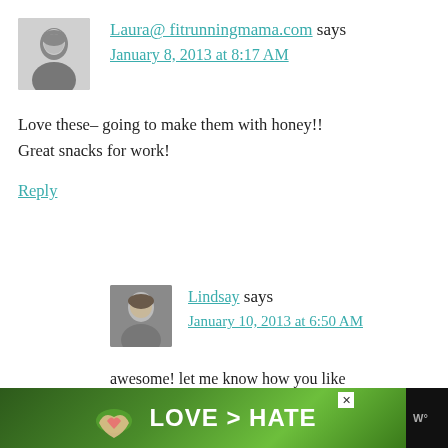[Figure (photo): Avatar photo of Laura, a woman with short dark hair, black and white photo]
Laura@ fitrunningmama.com says
January 8, 2013 at 8:17 AM
Love these– going to make them with honey!! Great snacks for work!
Reply
[Figure (photo): Avatar photo of Lindsay, a woman with dark hair smiling, color photo]
Lindsay says
January 10, 2013 at 6:50 AM
awesome! let me know how you like
[Figure (photo): Advertisement banner showing hands forming a heart shape with text LOVE > HATE on a green background]